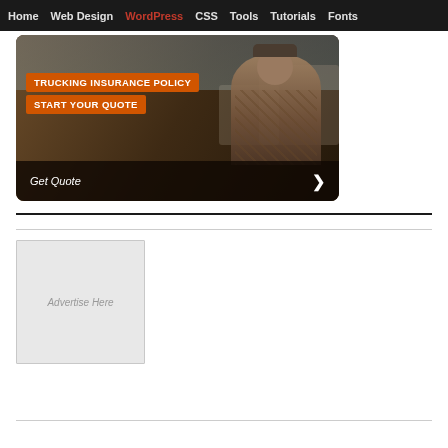Home | Web Design | WordPress | CSS | Tools | Tutorials | Fonts
[Figure (photo): Trucking Insurance Policy advertisement banner showing a smiling man in a cap with trucks in background. Orange labels read 'TRUCKING INSURANCE POLICY' and 'START YOUR QUOTE'. Footer bar reads 'Get Quote' with arrow.]
Advertise Here